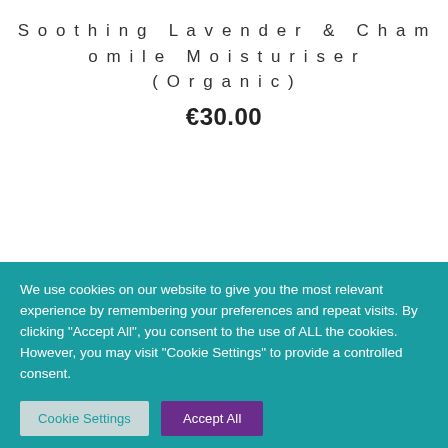Soothing Lavender & Chamomile Moisturiser (Organic)
€30.00
We use cookies on our website to give you the most relevant experience by remembering your preferences and repeat visits. By clicking "Accept All", you consent to the use of ALL the cookies. However, you may visit "Cookie Settings" to provide a controlled consent.
Cookie Settings | Accept All